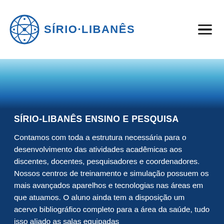[Figure (logo): Sírio-Libanês logo with geometric blue globe icon and text]
[Figure (illustration): Blue gradient hero banner background transitioning from light blue at top to dark navy blue at bottom]
SÍRIO-LIBANÊS ENSINO E PESQUISA
Contamos com toda a estrutura necessária para o desenvolvimento das atividades acadêmicas aos discentes, docentes, pesquisadores e coordenadores. Nossos centros de treinamento e simulação possuem os mais avançados aparelhos e tecnologias nas áreas em que atuamos. O aluno ainda tem a disposição um acervo bibliográfico completo para a área da saúde, tudo isso aliado as salas equipadas